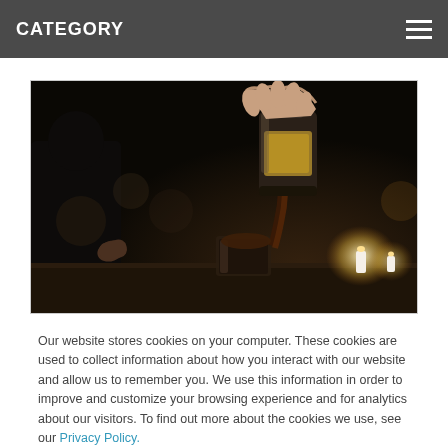CATEGORY
[Figure (photo): A hand pouring dark liquid (whiskey/spirits) from a flask-shaped bottle into a glass, with candles and a festive table setting in the background, dark atmospheric lighting.]
Our website stores cookies on your computer. These cookies are used to collect information about how you interact with our website and allow us to remember you. We use this information in order to improve and customize your browsing experience and for analytics about our visitors. To find out more about the cookies we use, see our Privacy Policy.
Ok, got it.